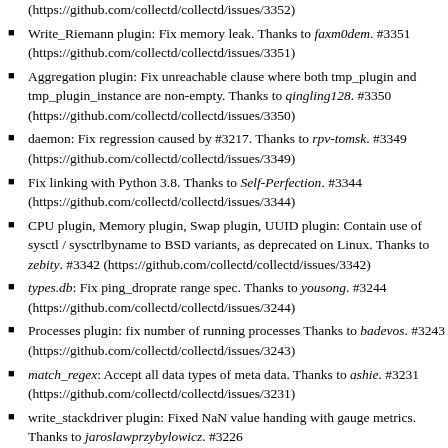(https://github.com/collectd/collectd/issues/3352)
Write_Riemann plugin: Fix memory leak. Thanks to faxm0dem. #3351 (https://github.com/collectd/collectd/issues/3351)
Aggregation plugin: Fix unreachable clause where both tmp_plugin and tmp_plugin_instance are non-empty. Thanks to qingling128. #3350 (https://github.com/collectd/collectd/issues/3350)
daemon: Fix regression caused by #3217. Thanks to rpv-tomsk. #3349 (https://github.com/collectd/collectd/issues/3349)
Fix linking with Python 3.8. Thanks to Self-Perfection. #3344 (https://github.com/collectd/collectd/issues/3344)
CPU plugin, Memory plugin, Swap plugin, UUID plugin: Contain use of sysctl / sysctrlbyname to BSD variants, as deprecated on Linux. Thanks to zebity. #3342 (https://github.com/collectd/collectd/issues/3342)
types.db: Fix ping_droprate range spec. Thanks to yousong. #3244 (https://github.com/collectd/collectd/issues/3244)
Processes plugin: fix number of running processes Thanks to badevos. #3243 (https://github.com/collectd/collectd/issues/3243)
match_regex: Accept all data types of meta data. Thanks to ashie. #3231 (https://github.com/collectd/collectd/issues/3231)
write_stackdriver plugin: Fixed NaN value handing with gauge metrics. Thanks to jaroslawprzybylowicz. #3226